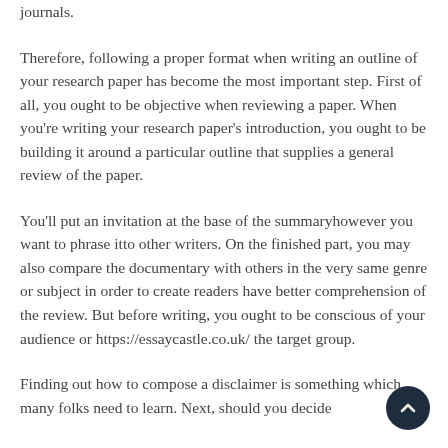journals.
Therefore, following a proper format when writing an outline of your research paper has become the most important step. First of all, you ought to be objective when reviewing a paper. When you're writing your research paper's introduction, you ought to be building it around a particular outline that supplies a general review of the paper.
You'll put an invitation at the base of the summaryhowever you want to phrase itto other writers. On the finished part, you may also compare the documentary with others in the very same genre or subject in order to create readers have better comprehension of the review. But before writing, you ought to be conscious of your audience or https://essaycastle.co.uk/ the target group.
Finding out how to compose a disclaimer is something which many folks need to learn. Next, should you decide